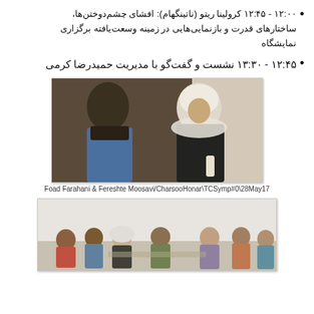۱۲:۰۰ - ۱۲:۴۵ کرولینا ریتو (ناتینگهام): افشای چشم‌دوختن‌ها، ساختارهای قدرت و بازنمایی‌هایی در زمینه وسعت‌یافته برگزاری نمایشگاه
۱۲:۴۵ - ۱۳:۳۰ نشست و گفت‌گو با مدیریت حمیدرضا کرمی
[Figure (photo): Two people in conversation, one wearing a white hijab and black clothing, the other in blue, standing in front of dark curtains]
Foad Farahani & Fereshte Moosavi/CharsooHonar\TCSymp#0\28May17
[Figure (photo): Group of people seated in a circle in a room, appearing to be in a discussion or meeting session]